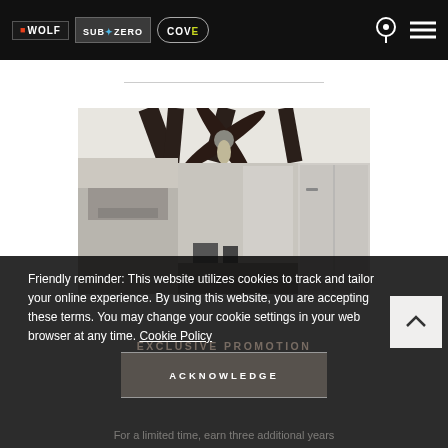WOLF | SUB-ZERO | COVE — navigation header with location and menu icons
[Figure (photo): Interior kitchen photo showing a high-end kitchen with dark ceiling fan, chandelier, stainless appliances, and marble surfaces]
Friendly reminder: This website utilizes cookies to track and tailor your online experience. By using this website, you are accepting these terms. You may change your cookie settings in your web browser at any time. Cookie Policy
EXCLUSIVE PROMOTION
ACKNOWLEDGE
For a limited time, earn three additional years